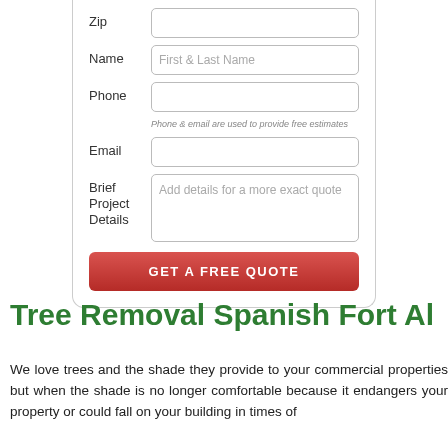[Figure (screenshot): Web form with fields for Zip, Name, Phone, Email, Brief Project Details, and a red GET A FREE QUOTE button]
Tree Removal Spanish Fort Al
We love trees and the shade they provide to your commercial properties but when the shade is no longer comfortable because it endangers your property or could fall on your building in times of